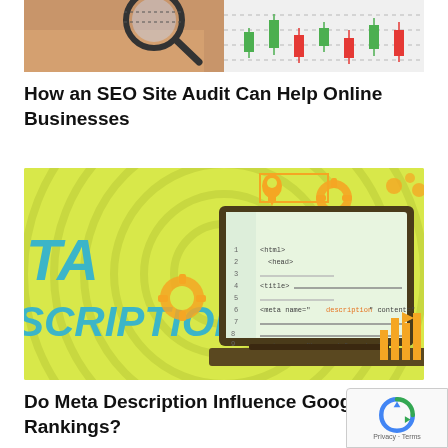[Figure (photo): Partial view of a hand holding a magnifying glass over a candlestick stock chart]
How an SEO Site Audit Can Help Online Businesses
[Figure (infographic): Yellow-green background infographic showing large text 'TA' and 'SCRIPTION' on left with a laptop displaying HTML meta description code on right, with circular patterns and orange gear/chart icons]
Do Meta Description Influence Google Rankings?